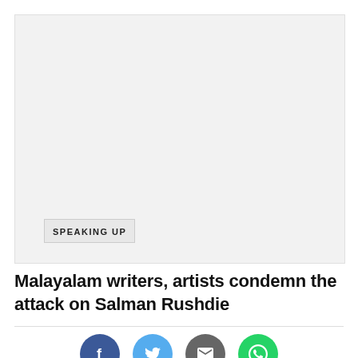[Figure (photo): Large image placeholder with light gray background, with a 'SPEAKING UP' label tag in bottom-left corner]
Malayalam writers, artists condemn the attack on Salman Rushdie
[Figure (other): Social sharing buttons: Facebook (dark blue), Twitter (light blue), Email (gray), WhatsApp (green)]